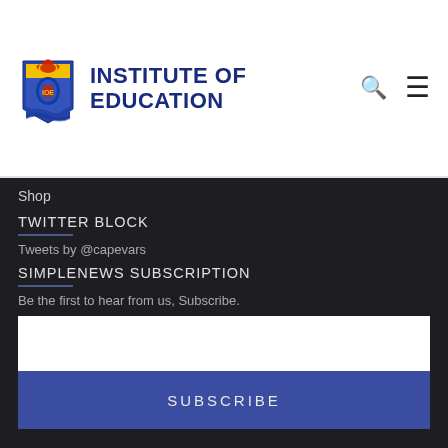INSTITUTE OF EDUCATION
Shop
TWITTER BLOCK
Tweets by @capevars
SIMPLENEWS SUBSCRIPTION
Be the first to hear from us, Subscribe.
SUBSCRIBE